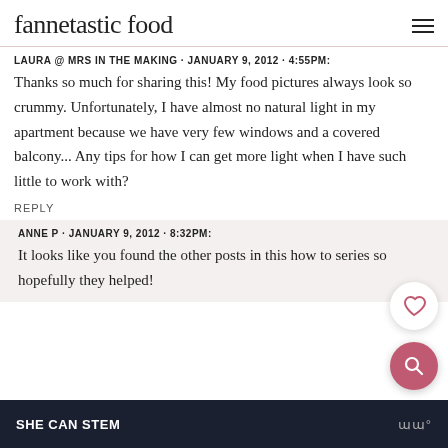fannetastic food
LAURA @ MRS IN THE MAKING · JANUARY 9, 2012 · 4:55PM:
Thanks so much for sharing this! My food pictures always look so crummy. Unfortunately, I have almost no natural light in my apartment because we have very few windows and a covered balcony... Any tips for how I can get more light when I have such little to work with?
REPLY
ANNE P · JANUARY 9, 2012 · 8:32PM:
It looks like you found the other posts in this how to series so hopefully they helped!
SHE CAN STEM